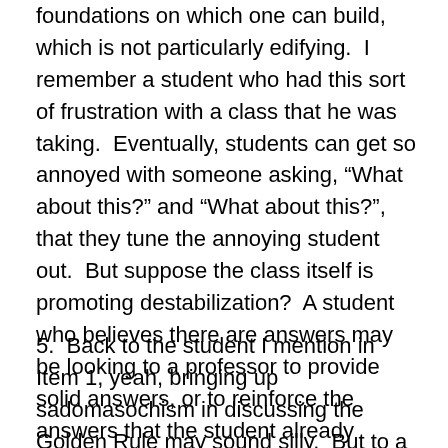foundations on which one can build, which is not particularly edifying.  I remember a student who had this sort of frustration with a class that he was taking.  Eventually, students can get so annoyed with someone asking, “What about this?” and “What about this?”, that they tune the annoying student out.  But suppose the class itself is promoting destabilization?  A student who believes there are answers may be looking to a professor to provide solid answers, or to reinforce the answers that the student already believes, or at least not to argue that there is no meaning in the universe and to offer some reliable foundation that goes somewhere productive, and the student walks away disappointed.
5.  Back to the student I mention in Item 1, yeah, bringing up sadomasochism in discussing the Golden Rule may sound silly.  But to a person seeking to articulate or to find